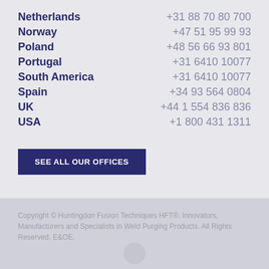Netherlands  +31 88 70 80 700
Norway  +47 51 95 99 93
Poland  +48 56 66 93 801
Portugal  +31 6410 10077
South America  +31 6410 10077
Spain  +34 93 564 0804
UK  +44 1 554 836 836
USA  +1 800 431 1311
SEE ALL OUR OFFICES
Copyright © Huntingdon Fusion Techniques HFT®. Innovators, Manufacturers and Specialists in Weld Purging Products. All Rights Reserved. E&OE.